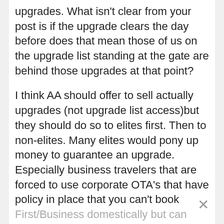upgrades. What isn't clear from your post is if the upgrade clears the day before does that mean those of us on the upgrade list standing at the gate are behind those upgrades at that point?
I think AA should offer to sell actually upgrades (not upgrade list access)but they should do so to elites first. Then to non-elites. Many elites would pony up money to guarantee an upgrade. Especially business travelers that are forced to use corporate OTA's that have policy in place that you can't book First/Business domestically but can later expense out seat charges, etc.